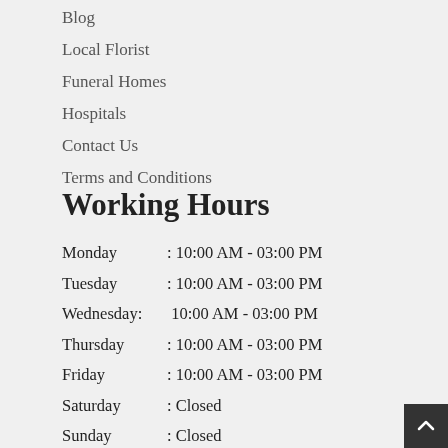Blog
Local Florist
Funeral Homes
Hospitals
Contact Us
Terms and Conditions
Working Hours
Monday     : 10:00 AM - 03:00 PM
Tuesday    : 10:00 AM - 03:00 PM
Wednesday: 10:00 AM - 03:00 PM
Thursday   : 10:00 AM - 03:00 PM
Friday        : 10:00 AM - 03:00 PM
Saturday   : Closed
Sunday      : Closed